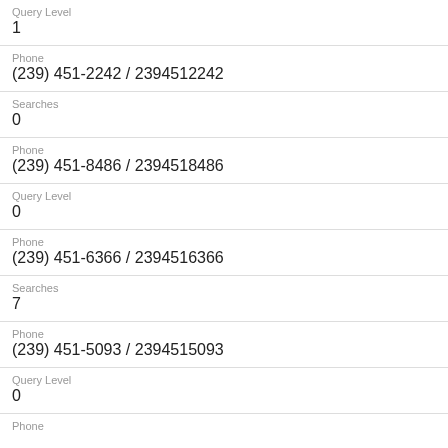Query Level
1
Phone
(239) 451-2242 / 2394512242
Searches
0
Phone
(239) 451-8486 / 2394518486
Query Level
0
Phone
(239) 451-6366 / 2394516366
Searches
7
Phone
(239) 451-5093 / 2394515093
Query Level
0
Phone